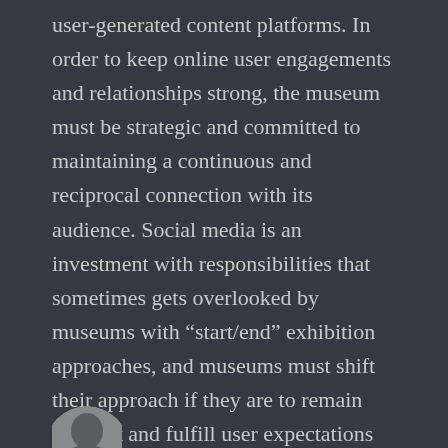user-generated content platforms. In order to keep online user engagements and relationships strong, the museum must be strategic and committed to maintaining a continuous and reciprocal connection with its audience. Social media is an investment with responsibilities that sometimes gets overlooked by museums with "start/end" exhibition approaches, and museums must shift their approach if they are to remain relevant and fulfill user expectations for these platforms and media.
[Figure (photo): Partial circular avatar/profile image visible at the bottom left of the page]